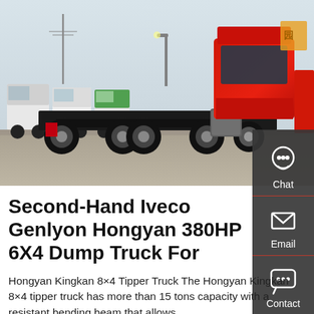[Figure (photo): Photograph of a red Iveco Genlyon Hongyan 6x4 heavy truck (tractor unit) parked in a large truck yard, viewed from the rear-left angle. The red cab is prominent on the right side. Multiple white and grey trucks are visible in the background. A grey concrete lot and overcast sky are visible.]
[Figure (infographic): Dark grey sidebar panel on the right side of the page with three contact icons: Chat (headset icon), Email (envelope icon), Contact (speech bubble icon), each separated by a red horizontal rule.]
Second-Hand Iveco Genlyon Hongyan 380HP 6X4 Dump Truck For
Hongyan Kingkan 8×4 Tipper Truck The Hongyan Kingkan 8×4 tipper truck has more than 15 tons capacity with a resistant bending beam that allows